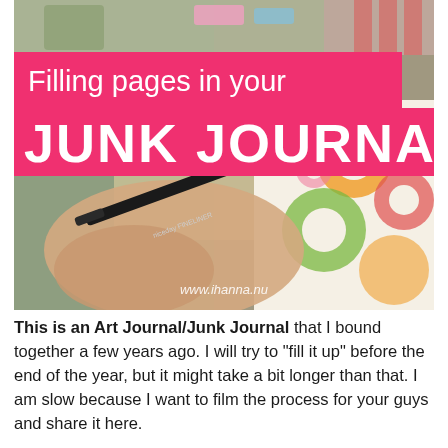[Figure (photo): A photo showing a hand holding a black fineliner pen (niceday FINELINER) writing in a junk journal, with colorful floral patterned paper visible on the right side. The image has two overlaid pink/magenta text banners: 'Filling pages in your' and 'JUNK JOURNAL'. The watermark 'www.ihanna.nu' appears at the bottom of the photo.]
This is an Art Journal/Junk Journal that I bound together a few years ago. I will try to "fill it up" before the end of the year, but it might take a bit longer than that. I am slow because I want to film the process for your guys and share it here.